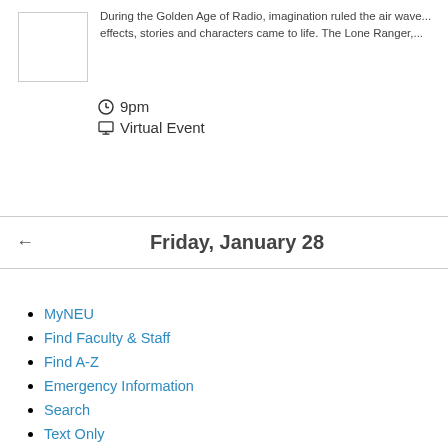During the Golden Age of Radio, imagination ruled the air wave... effects, stories and characters came to life. The Lone Ranger,...
9pm
Virtual Event
Friday, January 28
MyNEU
Find Faculty & Staff
Find A-Z
Emergency Information
Search
Text Only